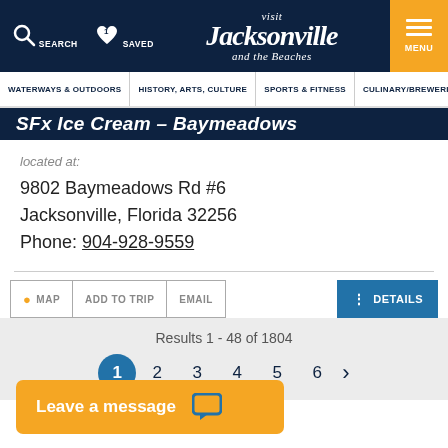[Figure (screenshot): Visit Jacksonville and the Beaches website header with navigation]
WATERWAYS & OUTDOORS | HISTORY, ARTS, CULTURE | SPORTS & FITNESS | CULINARY/BREWERIES
SFx Ice Cream – Baymeadows
located at:
9802 Baymeadows Rd #6
Jacksonville, Florida 32256
Phone: 904-928-9559
MAP  ADD TO TRIP  EMAIL  DETAILS
Results 1 - 48 of 1804
1  2  3  4  5  6  >
Leave a message